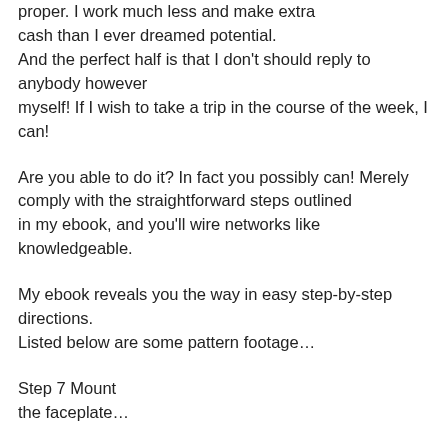proper. I work much less and make extra cash than I ever dreamed potential. And the perfect half is that I don't should reply to anybody however myself! If I wish to take a trip in the course of the week, I can!
Are you able to do it? In fact you possibly can! Merely comply with the straightforward steps outlined in my ebook, and you'll wire networks like knowledgeable.
My ebook reveals you the way in easy step-by-step directions. Listed below are some pattern footage…
Step 7 Mount the faceplate…
Step 18 Utilizing a fish tape…